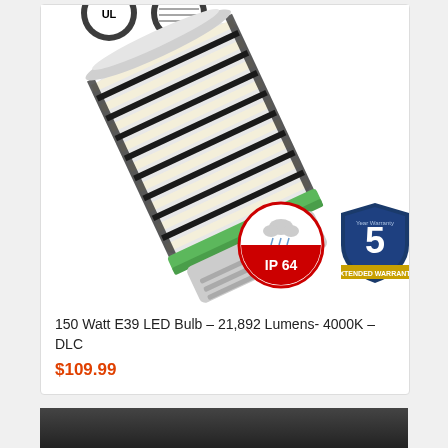[Figure (photo): LED corn bulb product photo showing a large cylindrical LED bulb with green base ring, E39 mogul base, IP64 rating badge, and 5-year extended warranty badge]
150 Watt E39 LED Bulb – 21,892 Lumens- 4000K – DLC
$109.99
[Figure (photo): Partial view of another product image at the bottom of the page, dark background]